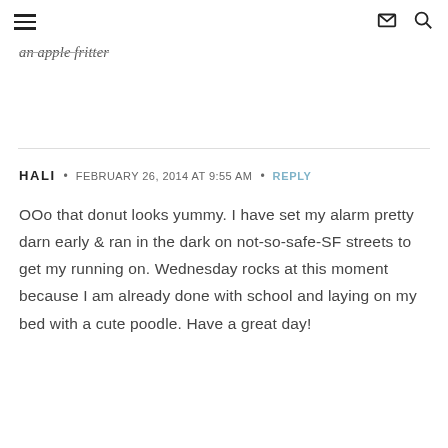[hamburger menu] [mail icon] [search icon]
an apple fritter
HALI • FEBRUARY 26, 2014 AT 9:55 AM • REPLY
OOo that donut looks yummy. I have set my alarm pretty darn early & ran in the dark on not-so-safe-SF streets to get my running on. Wednesday rocks at this moment because I am already done with school and laying on my bed with a cute poodle. Have a great day!